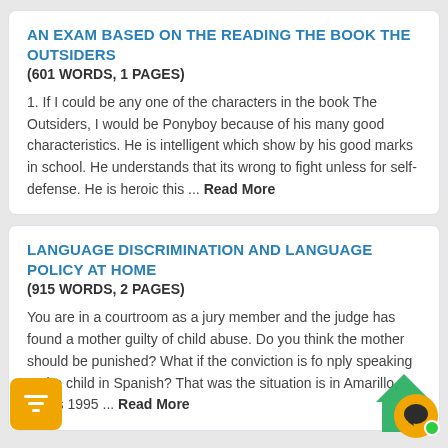AN EXAM BASED ON THE READING THE BOOK THE OUTSIDERS
(601 WORDS, 1 PAGES)
1. If I could be any one of the characters in the book The Outsiders, I would be Ponyboy because of his many good characteristics. He is intelligent which show by his good marks in school. He understands that its wrong to fight unless for self-defense. He is heroic this ... Read More
LANGUAGE DISCRIMINATION AND LANGUAGE POLICY AT HOME
(915 WORDS, 2 PAGES)
You are in a courtroom as a jury member and the judge has found a mother guilty of child abuse. Do you think the mother should be punished? What if the conviction is for simply speaking to the child in Spanish? That was the situation is in Amarillo, Texas 1995 ... Read More